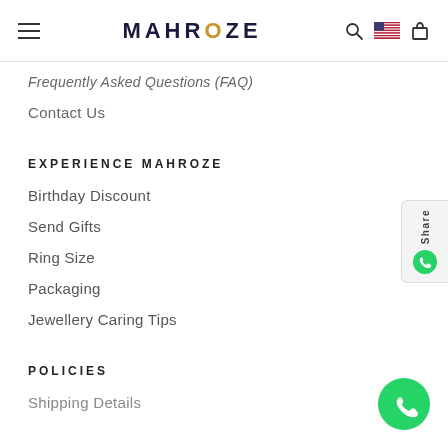MAHROZE
Frequently Asked Questions (FAQ)
Contact Us
EXPERIENCE MAHROZE
Birthday Discount
Send Gifts
Ring Size
Packaging
Jewellery Caring Tips
POLICIES
Shipping Details